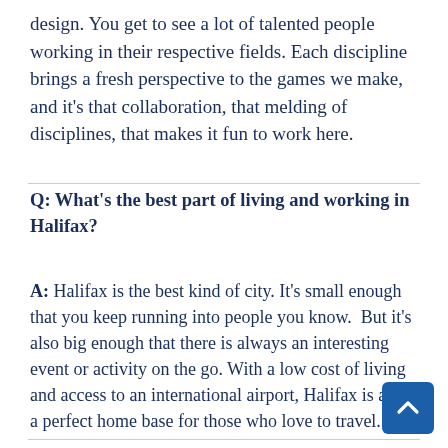design. You get to see a lot of talented people working in their respective fields. Each discipline brings a fresh perspective to the games we make, and it's that collaboration, that melding of disciplines, that makes it fun to work here.
Q: What's the best part of living and working in Halifax?
A: Halifax is the best kind of city. It's small enough that you keep running into people you know. But it's also big enough that there is always an interesting event or activity on the go. With a low cost of living and access to an international airport, Halifax is also a perfect home base for those who love to travel.